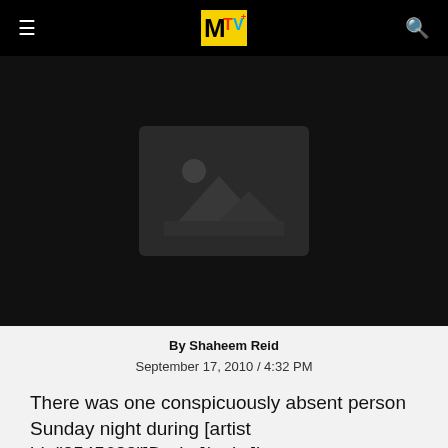MTV
[Figure (photo): Dark background with a placeholder image icon (landscape/mountain silhouette) in a dark rounded rectangle]
By Shaheem Reid
September 17, 2010 / 4:32 PM
There was one conspicuously absent person Sunday night during [artist id="2545682"]Drake[/artist]'s